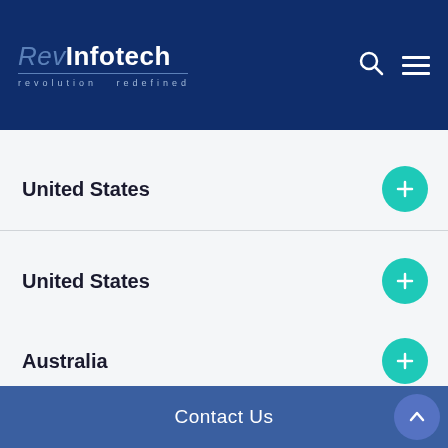RevInfotech — revolution redefined
United States
United States
Australia
United Kingdom
Contact Us